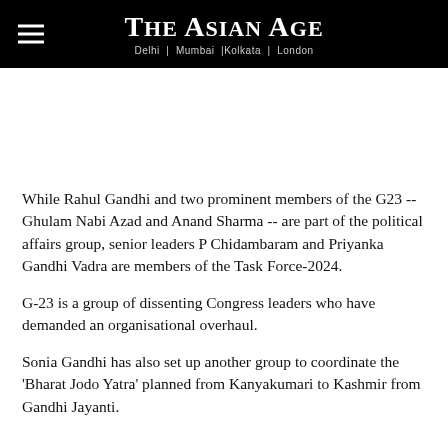THE ASIAN AGE — Delhi | Mumbai | Kolkata | London
While Rahul Gandhi and two prominent members of the G23 -- Ghulam Nabi Azad and Anand Sharma -- are part of the political affairs group, senior leaders P Chidambaram and Priyanka Gandhi Vadra are members of the Task Force-2024.
G-23 is a group of dissenting Congress leaders who have demanded an organisational overhaul.
Sonia Gandhi has also set up another group to coordinate the 'Bharat Jodo Yatra' planned from Kanyakumari to Kashmir from Gandhi Jayanti.